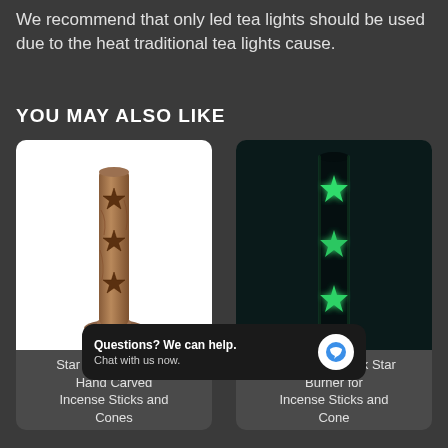We recommend that only led tea lights should be used due to the heat traditional tea lights cause.
YOU MAY ALSO LIKE
[Figure (photo): Stone carved cylindrical incense stick tower with star cutouts, brownish/reddish patina, on white background]
[Figure (photo): Dark cylindrical incense burner tower with glowing neon-green star cutouts on black background]
Star Incense Burner Hand Carved Incense Sticks and Cones
Glow in the Dark Star Burner for Incense Sticks and Cone
Questions? We can help. Chat with us now.